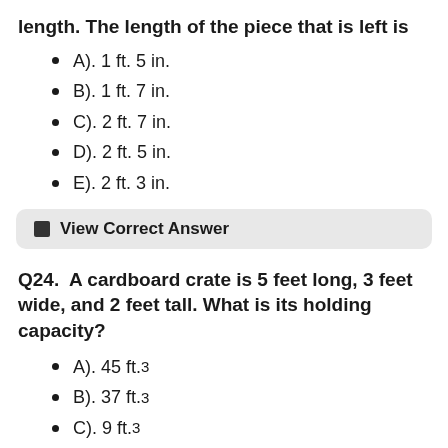length. The length of the piece that is left is
A). 1 ft. 5 in.
B). 1 ft. 7 in.
C). 2 ft. 7 in.
D). 2 ft. 5 in.
E). 2 ft. 3 in.
View Correct Answer
Q24.  A cardboard crate is 5 feet long, 3 feet wide, and 2 feet tall. What is its holding capacity?
A). 45 ft.³
B). 37 ft.³
C). 9 ft.³